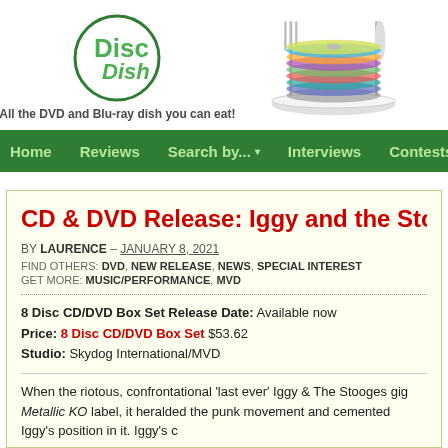[Figure (logo): Disc Dish logo: green circle with 'Disc Dish' text in green, beside a stack of CDs on a plate with fork and knife]
All the DVD and Blu-ray dish you can eat!
Home   Reviews   Search by...   Interviews   Contests   Tod
CD & DVD Release: Iggy and the Stooge
BY LAURENCE – JANUARY 8, 2021
FIND OTHERS: DVD, NEW RELEASE, NEWS, SPECIAL INTEREST
GET MORE: MUSIC/PERFORMANCE, MVD
8 Disc CD/DVD Box Set Release Date: Available now
Price: 8 Disc CD/DVD Box Set $53.62
Studio: Skydog International/MVD
When the riotous, confrontational 'last ever' Iggy & The Stooges gig Metallic KO label, it heralded the punk movement and cemented Iggy's position in it. Iggy's c